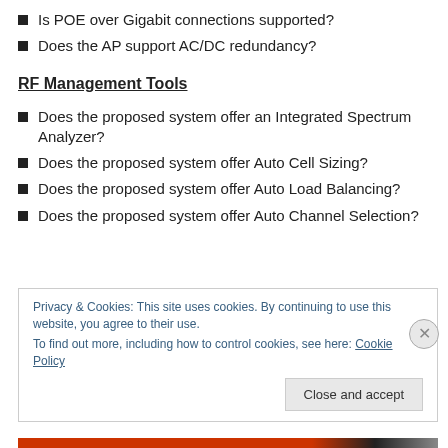Is POE over Gigabit connections supported?
Does the AP support AC/DC redundancy?
RF Management Tools
Does the proposed system offer an Integrated Spectrum Analyzer?
Does the proposed system offer Auto Cell Sizing?
Does the proposed system offer Auto Load Balancing?
Does the proposed system offer Auto Channel Selection?
Privacy & Cookies: This site uses cookies. By continuing to use this website, you agree to their use.
To find out more, including how to control cookies, see here: Cookie Policy